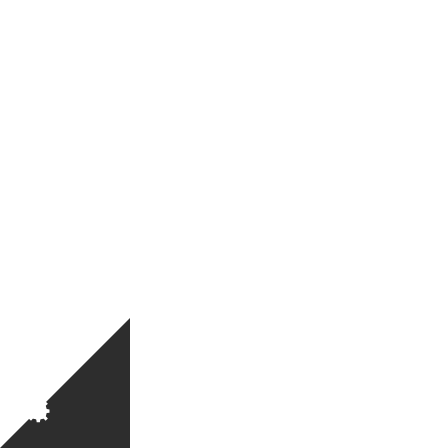[Figure (screenshot): Cookie control dialog box with dark header containing gear/C icon and 'Cookie control' title with X close button, body text about cookies, a dark 'I'm fine with this' button, and links for 'Information and Settings' and 'Cookie policy'. A dark triangle decorates the bottom-left corner with a gear icon.]